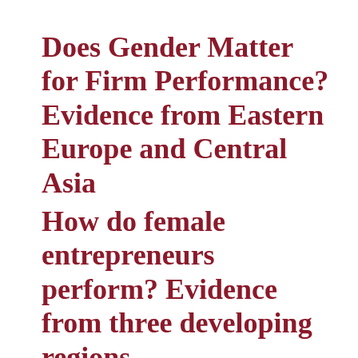Does Gender Matter for Firm Performance? Evidence from Eastern Europe and Central Asia
How do female entrepreneurs perform? Evidence from three developing regions